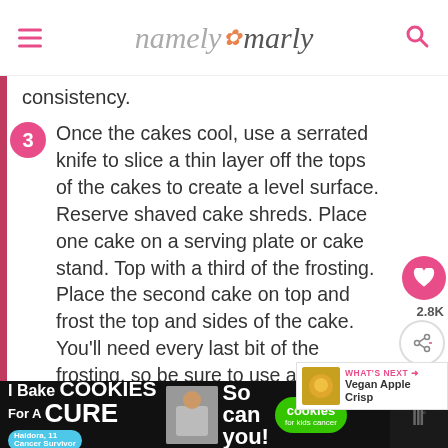namely marly
consistency.
3 Once the cakes cool, use a serrated knife to slice a thin layer off the tops of the cakes to create a level surface. Reserve shaved cake shreds. Place one cake on a serving plate or cake stand. Top with a third of the frosting. Place the second cake on top and frost the top and sides of the cake. You'll need every last bit of the frosting, so be sure to use a spatula to get it all.
[Figure (other): Advertisement banner: I Bake COOKIES For A CURE - So can you! cookies for kids cancer]
2.8K